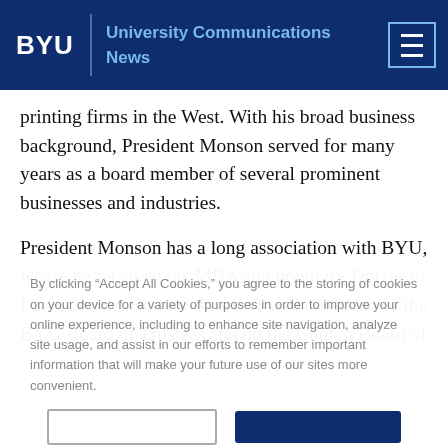BYU | University Communications News
printing firms in the West. With his broad business background, President Monson served for many years as a board member of several prominent businesses and industries.
President Monson has a long association with BYU, where he received his MBA and honorary Doctor of Laws degree. He serves as first vice chairman of the BYU Board of Trustees and on the Church Board of
By clicking “Accept All Cookies,” you agree to the storing of cookies on your device for a variety of purposes in order to improve your online experience, including to enhance site navigation, analyze site usage, and assist in our efforts to remember important information that will make your future use of our sites more convenient.